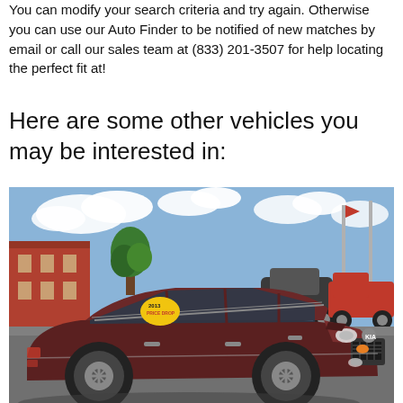You can modify your search criteria and try again. Otherwise you can use our Auto Finder to be notified of new matches by email or call our sales team at (833) 201-3507 for help locating the perfect fit at!
Here are some other vehicles you may be interested in:
[Figure (photo): Photo of a dark maroon/brown Kia Sorento SUV parked in a dealership lot with a yellow price sticker on the windshield, blue sky with clouds in the background, other vehicles visible in the lot behind it.]